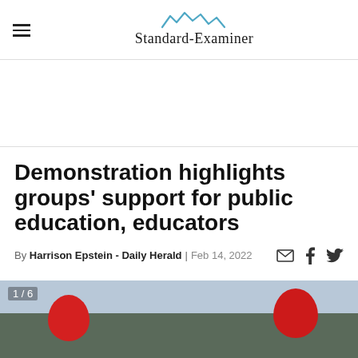Standard-Examiner
[Figure (photo): Advertisement area (blank white space)]
Demonstration highlights groups' support for public education, educators
By Harrison Epstein - Daily Herald | Feb 14, 2022
[Figure (photo): Photo showing red balloons being held at an outdoor demonstration, with trees in background. Counter shows 1/6.]